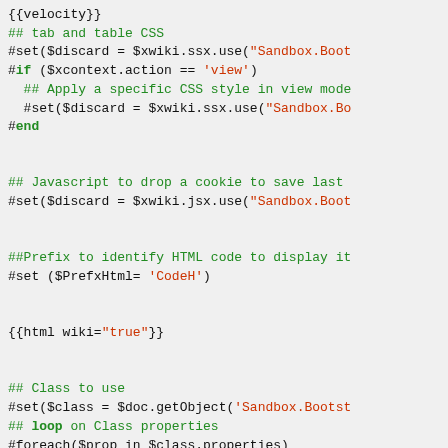[Figure (screenshot): Code snippet showing Velocity/XWiki template code with syntax highlighting. Green text for comments and keywords, red/orange for string literals and variables, black for operators and punctuation.]